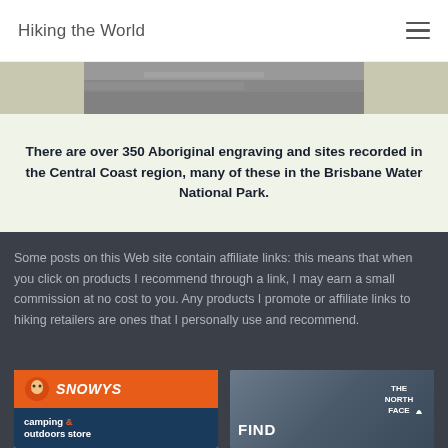Hiking the World
[Figure (photo): Partial photo strip of rocky/nature landscape, cropped]
There are over 350 Aboriginal engraving and sites recorded in the Central Coast region, many of these in the Brisbane Water National Park.
Some posts on this Web site contain affiliate links: this means that when you click on products I recommend through a link, I may earn a small commission at no cost to you. Any products I promote or affiliate links to hiking retailers are ones that I personally use and recommend.
[Figure (logo): Snowys camping & outdoors store advertisement banner with orange header and dark blue section showing 'camping & outdoors store']
[Figure (photo): The North Face advertisement banner with mountain background photo and 'FIND' text]